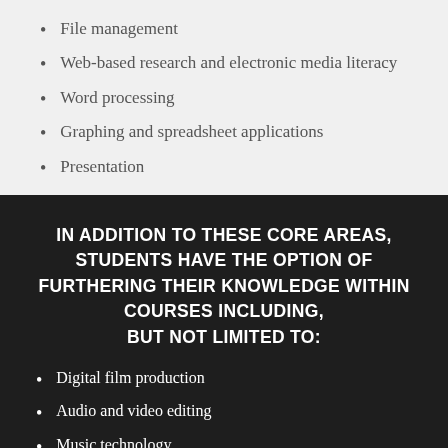File management
Web-based research and electronic media literacy
Word processing
Graphing and spreadsheet applications
Presentation
IN ADDITION TO THESE CORE AREAS, STUDENTS HAVE THE OPTION OF FURTHERING THEIR KNOWLEDGE WITHIN COURSES INCLUDING, BUT NOT LIMITED TO:
Digital film production
Audio and video editing
Music technology